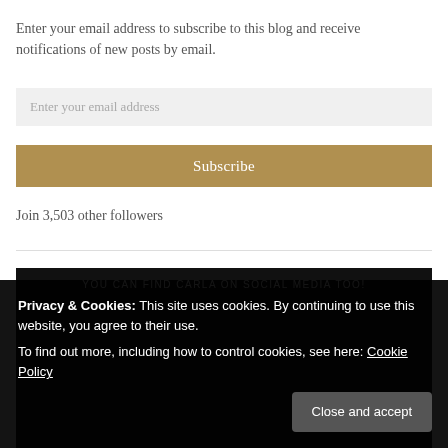Enter your email address to subscribe to this blog and receive notifications of new posts by email.
Enter your email address
Subscribe
Join 3,503 other followers
YOU CAN FIND CARLA ON SOCIAL MEDIA TOO!
Privacy & Cookies: This site uses cookies. By continuing to use this website, you agree to their use.
To find out more, including how to control cookies, see here: Cookie Policy
Close and accept